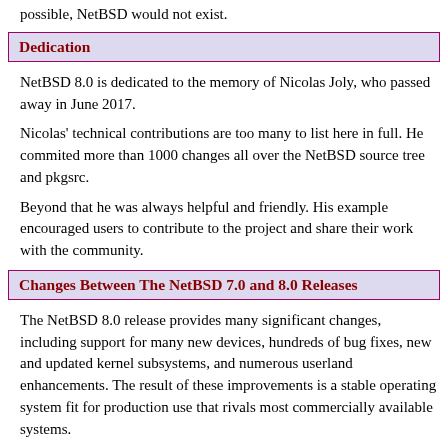possible, NetBSD would not exist.
Dedication
NetBSD 8.0 is dedicated to the memory of Nicolas Joly, who passed away in June 2017.
Nicolas' technical contributions are too many to list here in full. He commited more than 1000 changes all over the NetBSD source tree and pkgsrc.
Beyond that he was always helpful and friendly. His example encouraged users to contribute to the project and share their work with the community.
Changes Between The NetBSD 7.0 and 8.0 Releases
The NetBSD 8.0 release provides many significant changes, including support for many new devices, hundreds of bug fixes, new and updated kernel subsystems, and numerous userland enhancements. The result of these improvements is a stable operating system fit for production use that rivals most commercially available systems.